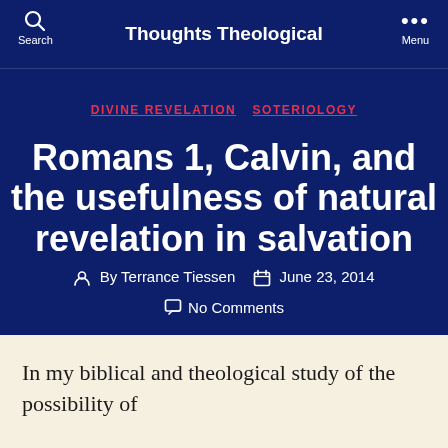Thoughts Theological
DIVINE REVELATION  SOTERIOLOGY
Romans 1, Calvin, and the usefulness of natural revelation in salvation
By Terrance Tiessen   June 23, 2014
No Comments
In my biblical and theological study of the possibility of